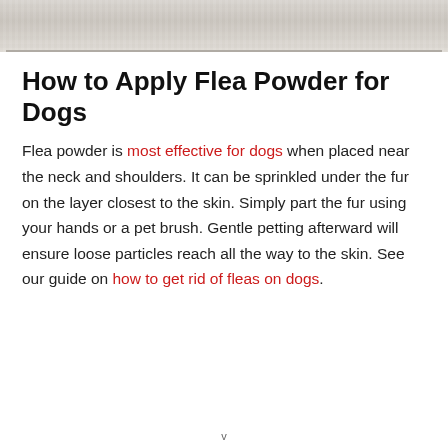[Figure (photo): Close-up photo of white/cream colored dog fur, cropped at top of page]
How to Apply Flea Powder for Dogs
Flea powder is most effective for dogs when placed near the neck and shoulders. It can be sprinkled under the fur on the layer closest to the skin. Simply part the fur using your hands or a pet brush. Gentle petting afterward will ensure loose particles reach all the way to the skin. See our guide on how to get rid of fleas on dogs.